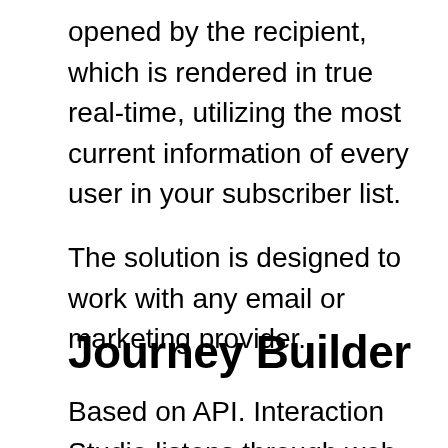opened by the recipient, which is rendered in true real-time, utilizing the most current information of every user in your subscriber list.
The solution is designed to work with any email or marketing provider.
Journey Builder
Based on API. Interaction Studio listens through web, mobile, API, and data feeds, constantly gathering data about visitors, then updates existing segments in real-